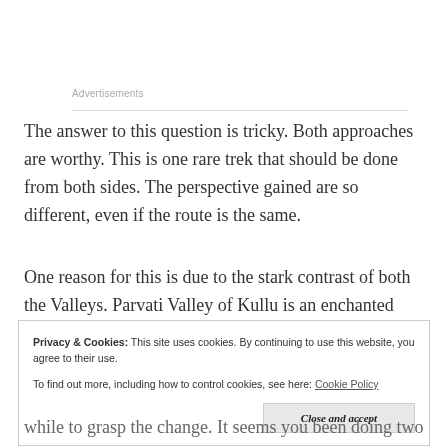Advertisements
The answer to this question is tricky. Both approaches are worthy. This is one rare trek that should be done from both sides. The perspective gained are so different, even if the route is the same.
One reason for this is due to the stark contrast of both the Valleys. Parvati Valley of Kullu is an enchanted Green Paradise.
Privacy & Cookies: This site uses cookies. By continuing to use this website, you agree to their use.
To find out more, including how to control cookies, see here: Cookie Policy
while to grasp the change. It seems you been doing two